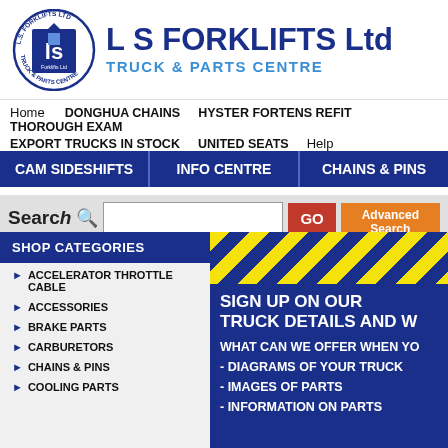[Figure (logo): L S Forklifts Ltd circular logo with blue and white design, showing a stylized 'ls' with a building icon]
L S FORKLIFTS Ltd
TRUCK & PARTS CENTRE
Home   DONGHUA CHAINS   HYSTER FORTENS REFIT   THOROUGH EXAM
EXPORT TRUCKS IN STOCK   UNITED SEATS   Help
CAM SIDESHIFTS | INFO CENTRE | CHAINS & PINS
Search [GO] [Advanced Search]
SHOP CATEGORIES
ACCELERATOR THROTTLE CABLE
ACCESSORIES
BRAKE PARTS
CARBURETORS
CHAINS & PINS
COOLING PARTS
SIGN UP ON OUR TRUCK DETAILS AND W
WHAT CAN WE OFFER WHEN YO
- DIAGRAMS OF YOUR TRUCK
- IMAGES OF PARTS
- INFORMATION ON PARTS